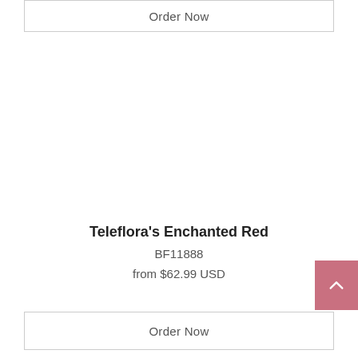Order Now
Teleflora's Enchanted Red
BF11888
from $62.99 USD
Order Now